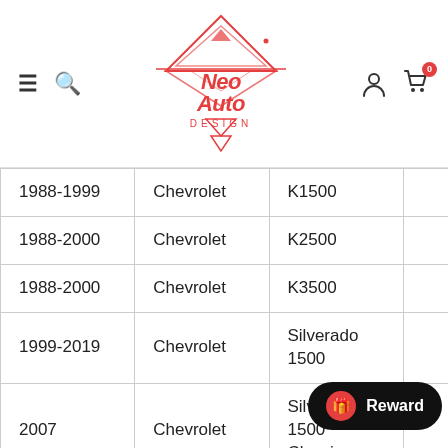NeoAuto Design — navigation header with logo, hamburger menu, search, user icon, cart
| Year | Make | Model |  |
| --- | --- | --- | --- |
| 1988-1999 | Chevrolet | K1500 |  |
| 1988-2000 | Chevrolet | K2500 |  |
| 1988-2000 | Chevrolet | K3500 |  |
| 1999-2019 | Chevrolet | Silverado 1500 |  |
| 2007 | Chevrolet | Silverado 1500 Classic |  |
| 2001- | Chevrolet | Silverado |  |